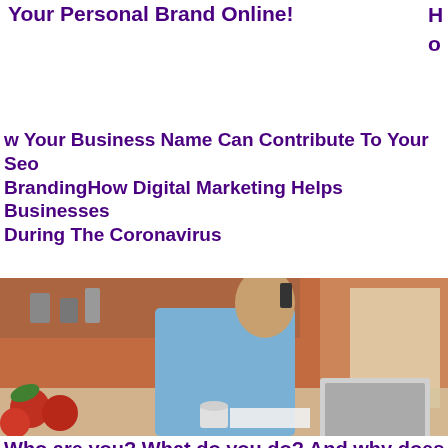Your Personal Brand Online!
w Your Business Name Can Contribute To Your Seo Branding
How Digital Marketing Helps Businesses During The Coronavirus
[Figure (photo): A bearded man in a blue shirt standing in a kitchen, talking on a phone while working on a laptop, with vegetables and kitchen items visible in the background.]
Who are you? What do you do? And why does it